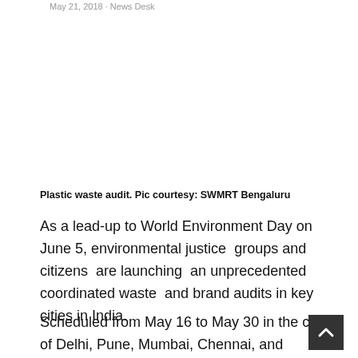May 21, 2018 · News Desk
[Figure (photo): Blank/white image area representing a plastic waste audit photo]
Plastic waste audit. Pic courtesy: SWMRT Bengaluru
As a lead-up to World Environment Day on June 5, environmental justice  groups and citizens  are launching  an unprecedented coordinated waste  and brand audits in key cities in India.
Scheduled from May 16 to May 30 in the cities of Delhi, Pune, Mumbai, Chennai, and Bengaluru along wit various cities in Goa, Kerala, and 12 Himalayan States,